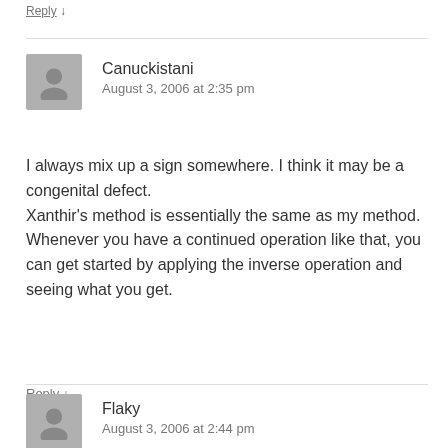Reply ↓
Canuckistani
August 3, 2006 at 2:35 pm
I always mix up a sign somewhere. I think it may be a congenital defect.
Xanthir's method is essentially the same as my method. Whenever you have a continued operation like that, you can get started by applying the inverse operation and seeing what you get.
Reply ↓
Flaky
August 3, 2006 at 2:44 pm